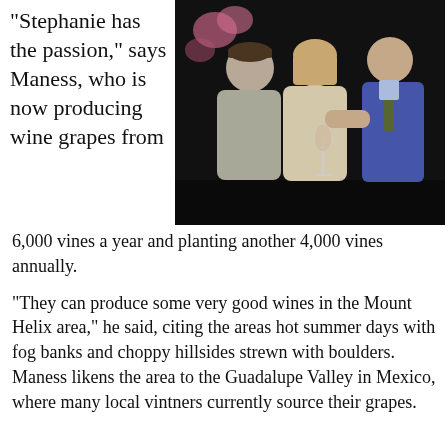“Stephanie has the passion,” says Maness, who is now producing wine grapes from 6,000 vines a year and planting another 4,000 vines annually.
[Figure (photo): Three people posing together at an outdoor evening event. A man in a brown cap on the left, a woman in a beige jacket holding a wine glass in the center, and a man in a suit on the right. Pink flowers visible in the background.]
“They can produce some very good wines in the Mount Helix area,” he said, citing the areas hot summer days with fog banks and choppy hillsides strewn with boulders. Maness likens the area to the Guadalupe Valley in Mexico, where many local vintners currently source their grapes.